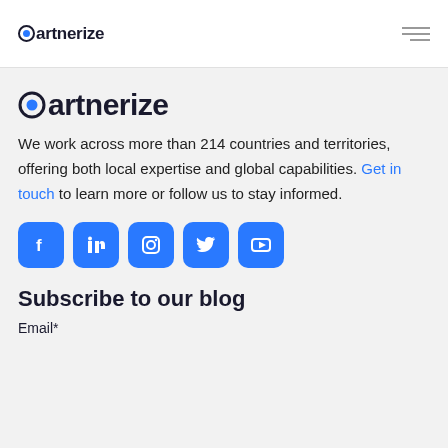Partnerize
[Figure (logo): Partnerize logo — large version in main content area]
We work across more than 214 countries and territories, offering both local expertise and global capabilities. Get in touch to learn more or follow us to stay informed.
[Figure (infographic): Row of 5 social media icons: Facebook, LinkedIn, Instagram, Twitter, YouTube — blue rounded square buttons]
Subscribe to our blog
Email*